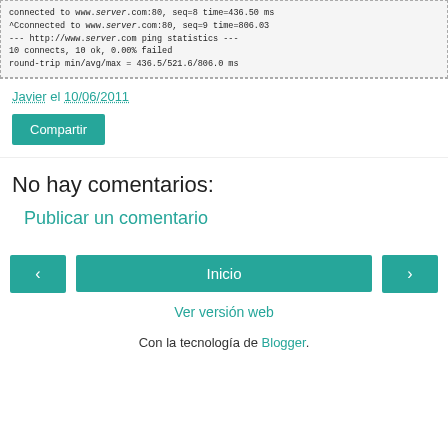[Figure (screenshot): Code/terminal output box showing ping statistics to www.server.com]
Javier el 10/06/2011
Compartir
No hay comentarios:
Publicar un comentario
< Inicio >
Ver versión web
Con la tecnología de Blogger.